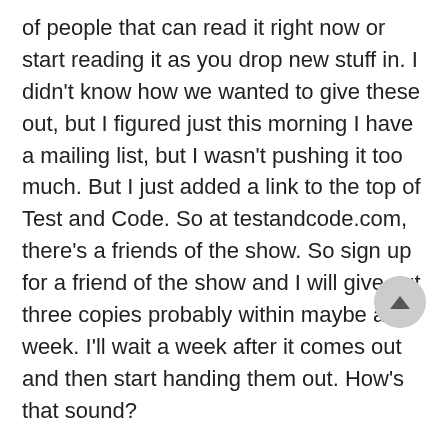of people that can read it right now or start reading it as you drop new stuff in. I didn’t know how we wanted to give these out, but I figured just this morning I have a mailing list, but I wasn’t pushing it too much. But I just added a link to the top of Test and Code. So at testandcode.com, there’s a friends of the show. So sign up for a friend of the show and I will give out three copies probably within maybe a week. I’ll wait a week after it comes out and then start handing them out. How’s that sound?
It sounds pretty sweet. I like that if I was trying to learn some stuff.
Well, I like your writing style so far. I downloaded a copy and started reading it. I was a little